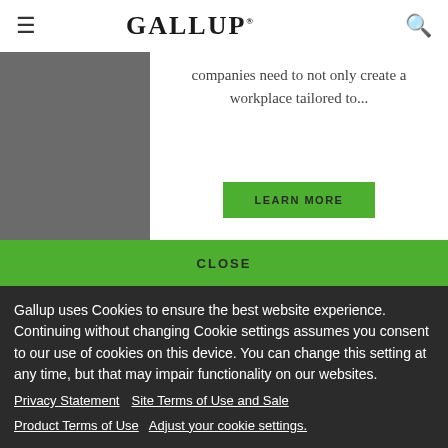GALLUP
companies need to not only create a workplace tailored to...
LEARN MORE
CLOSE
Gallup uses Cookies to ensure the best website experience. Continuing without changing Cookie settings assumes you consent to our use of cookies on this device. You can change this setting at any time, but that may impair functionality on our websites.
Privacy Statement   Site Terms of Use and Sale
Product Terms of Use   Adjust your cookie settings.